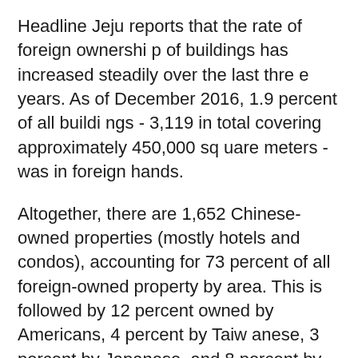Headline Jeju reports that the rate of foreign ownership of buildings has increased steadily over the last three years. As of December 2016, 1.9 percent of all buildings - 3,119 in total covering approximately 450,000 square meters - was in foreign hands.
Altogether, there are 1,652 Chinese-owned properties (mostly hotels and condos), accounting for 73 percent of all foreign-owned property by area. This is followed by 12 percent owned by Americans, 4 percent by Taiwanese, 3 percent by Japanese, and 8 percent by other nationalities.
By building type, 59 percent of foreign-owned properties are tourist accommodations, 14 percent are private residencies, 13 percent are commercial facilities, and 9 percent are apartments.